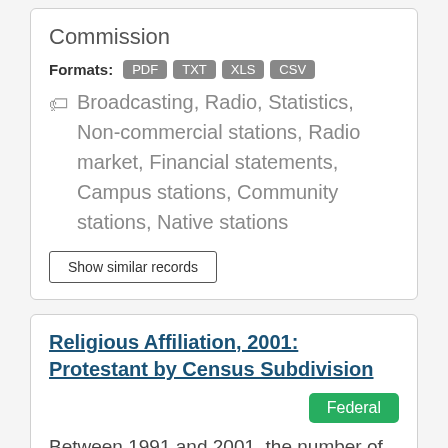Commission
Formats: PDF TXT XLS CSV
Broadcasting, Radio, Statistics, Non-commercial stations, Radio market, Financial statements, Campus stations, Community stations, Native stations
Show similar records
Religious Affiliation, 2001: Protestant by Census Subdivision
Federal
Between 1991 and 2001, the number of Roman Catholics in Canada increased